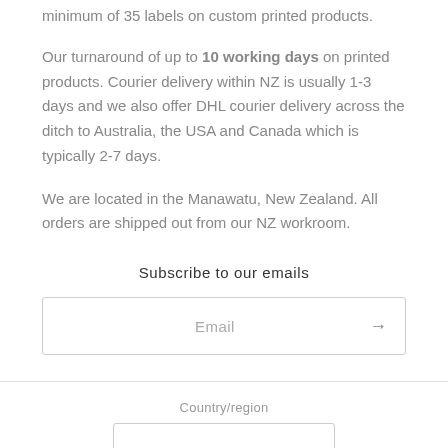minimum of 35 labels on custom printed products.
Our turnaround of up to 10 working days on printed products. Courier delivery within NZ is usually 1-3 days and we also offer DHL courier delivery across the ditch to Australia, the USA and Canada which is typically 2-7 days.
We are located in the Manawatu, New Zealand. All orders are shipped out from our NZ workroom.
Subscribe to our emails
Email
Country/region